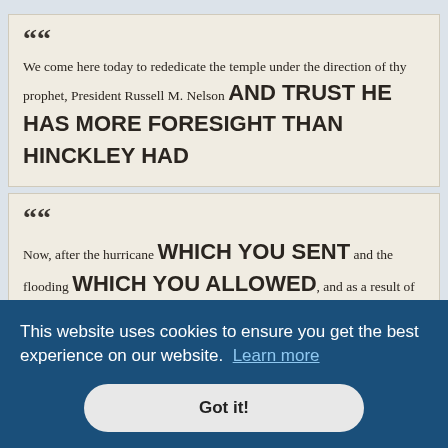We come here today to rededicate the temple under the direction of thy prophet, President Russell M. Nelson AND TRUST HE HAS MORE FORESIGHT THAN HINCKLEY HAD
Now, after the hurricane WHICH YOU SENT and the flooding WHICH YOU ALLOWED, and as a result of the damage requiring extensive repairs and restoration, we rededicate THIS SORRY TEMPLE
...THAT ...the ...revealed to Thy prophet, President Joseph F. Smith in the 138th Section of the
This website uses cookies to ensure you get the best experience on our website. Learn more
Got it!